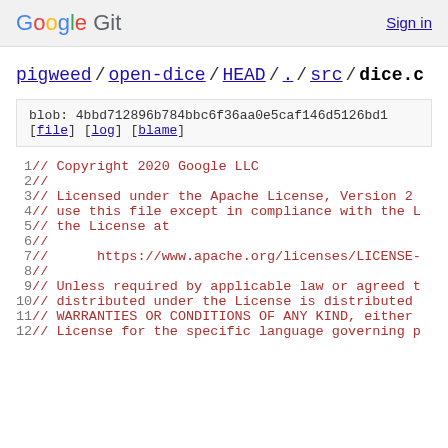Google Git  Sign in
pigweed / open-dice / HEAD / . / src / dice.c
blob: 4bbd712896b784bbc6f36aa0e5caf146d5126bd1
[file] [log] [blame]
1   // Copyright 2020 Google LLC
2   //
3   // Licensed under the Apache License, Version 2
4   // use this file except in compliance with the L
5   // the License at
6   //
7   //     https://www.apache.org/licenses/LICENSE-
8   //
9   // Unless required by applicable law or agreed t
10  // distributed under the License is distributed
11  // WARRANTIES OR CONDITIONS OF ANY KIND, either
12  // License for the specific language governing p